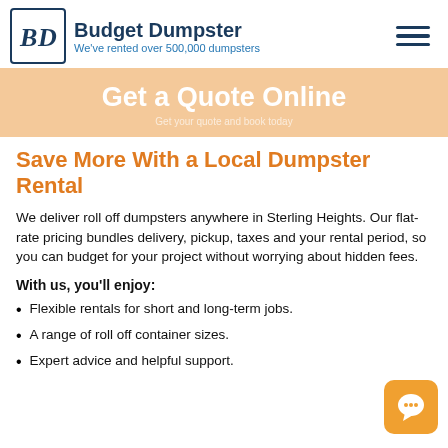Budget Dumpster — We've rented over 500,000 dumpsters
[Figure (infographic): Orange banner with text 'Get a Quote Online']
Save More With a Local Dumpster Rental
We deliver roll off dumpsters anywhere in Sterling Heights. Our flat-rate pricing bundles delivery, pickup, taxes and your rental period, so you can budget for your project without worrying about hidden fees.
With us, you'll enjoy:
Flexible rentals for short and long-term jobs.
A range of roll off container sizes.
Expert advice and helpful support.